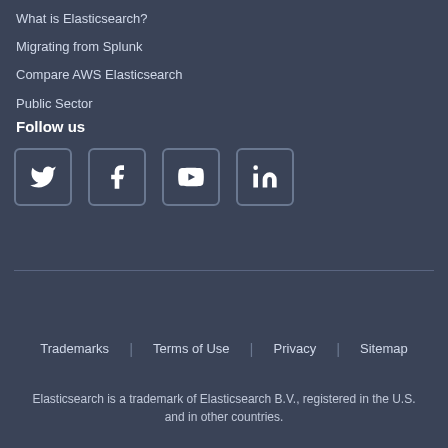What is Elasticsearch?
Migrating from Splunk
Compare AWS Elasticsearch
Public Sector
Follow us
[Figure (infographic): Social media icons: Twitter, Facebook, YouTube, LinkedIn]
Trademarks | Terms of Use | Privacy | Sitemap
Elasticsearch is a trademark of Elasticsearch B.V., registered in the U.S. and in other countries.